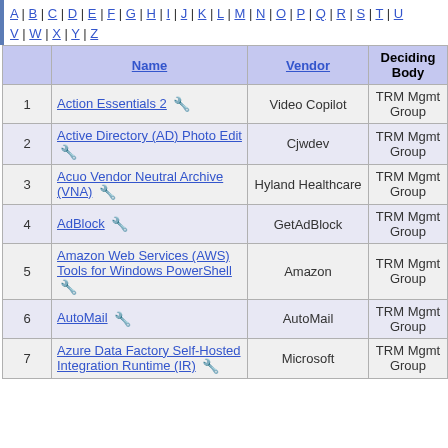A | B | C | D | E | F | G | H | I | J | K | L | M | N | O | P | Q | R | S | T | U | V | W | X | Y | Z
|  | Name | Vendor | Deciding Body | Decision Date |
| --- | --- | --- | --- | --- |
| 1 | Action Essentials 2 🔧 | Video Copilot | TRM Mgmt Group | 08/08/2019 |
| 2 | Active Directory (AD) Photo Edit 🔧 | Cjwdev | TRM Mgmt Group | 08/08/2019 |
| 3 | Acuo Vendor Neutral Archive (VNA) 🔧 | Hyland Healthcare | TRM Mgmt Group | 08/20/2019 |
| 4 | AdBlock 🔧 | GetAdBlock | TRM Mgmt Group | 08/13/2019 |
| 5 | Amazon Web Services (AWS) Tools for Windows PowerShell 🔧 | Amazon | TRM Mgmt Group | 08/08/2019 |
| 6 | AutoMail 🔧 | AutoMail | TRM Mgmt Group | 08/08/2019 |
| 7 | Azure Data Factory Self-Hosted Integration Runtime (IR) 🔧 | Microsoft | TRM Mgmt Group | 08/23/2019 |